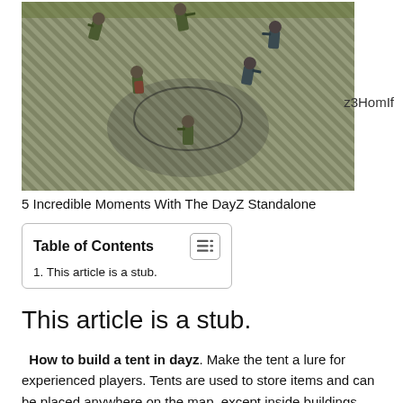[Figure (photo): Screenshot from DayZ Standalone video game showing multiple military-style characters on a corrugated metal rooftop surface, viewed from above. Characters in camouflage gear. Text 'z3HomIf' visible to the right of the image.]
5 Incredible Moments With The DayZ Standalone
Table of Contents
1. This article is a stub.
This article is a stub.
How to build a tent in dayz. Make the tent a lure for experienced players. Tents are used to store items and can be placed anywhere on the map, except inside buildings. Dayz car